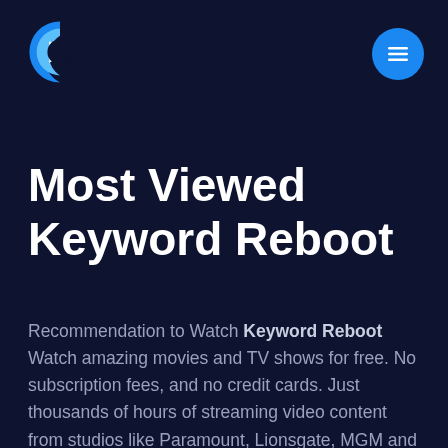[Figure (logo): Crackle streaming service logo - stylized letter C in blue tones with a play button triangle]
Most Viewed Keyword Reboot
Recommendation to Watch Keyword Reboot Watch amazing movies and TV shows for free. No subscription fees, and no credit cards. Just thousands of hours of streaming video content from studios like Paramount, Lionsgate, MGM and more.